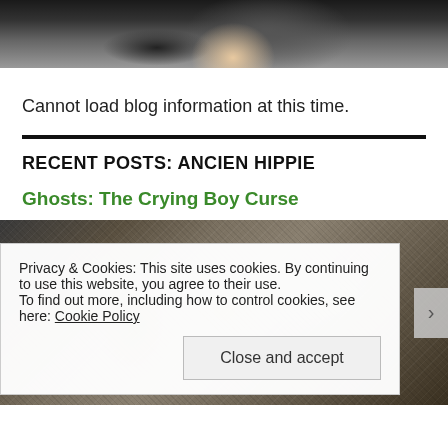[Figure (photo): Partial view of a person (appears to be a woman with blonde hair) photographed from below chin level, dark background]
Cannot load blog information at this time.
RECENT POSTS: ANCIEN HIPPIE
Ghosts: The Crying Boy Curse
[Figure (photo): Dark textured rocky/stone surface with metallic or reflective curved elements, appears to be a cave or rock formation]
Privacy & Cookies: This site uses cookies. By continuing to use this website, you agree to their use.
To find out more, including how to control cookies, see here: Cookie Policy
Close and accept